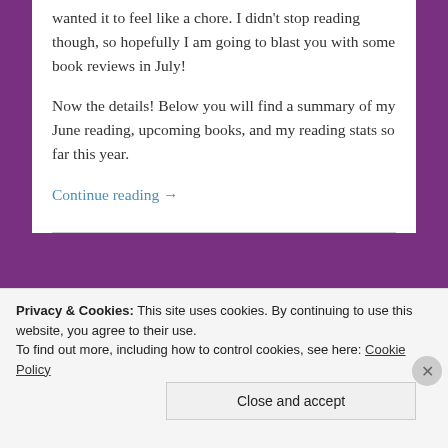wanted it to feel like a chore. I didn't stop reading though, so hopefully I am going to blast you with some book reviews in July!
Now the details! Below you will find a summary of my June reading, upcoming books, and my reading stats so far this year.
Continue reading →
Privacy & Cookies: This site uses cookies. By continuing to use this website, you agree to their use.
To find out more, including how to control cookies, see here: Cookie Policy
Close and accept